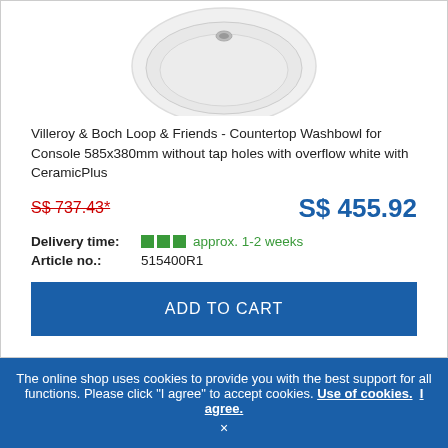[Figure (photo): Partial view of Villeroy & Boch Loop & Friends countertop washbowl, white ceramic, top-down view showing overflow hole]
Villeroy & Boch Loop & Friends - Countertop Washbowl for Console 585x380mm without tap holes with overflow white with CeramicPlus
S$ 737.43* (strikethrough old price) | S$ 455.92 (new price)
Delivery time: approx. 1-2 weeks
Article no.: 515400R1
ADD TO CART
The online shop uses cookies to provide you with the best support for all functions. Please click "I agree" to accept cookies. Use of cookies. I agree. ×